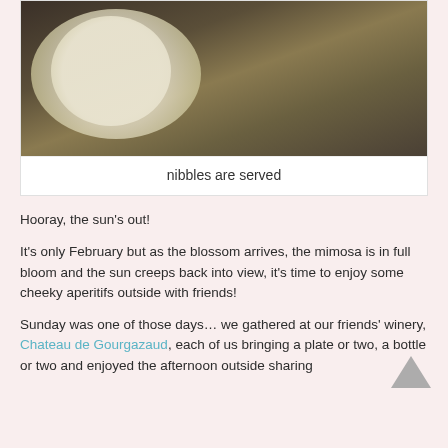[Figure (photo): Food photo showing a plate with breaded/crusted food items and a bowl of white dip/sauce, alongside a wine glass, on a wooden table surface.]
nibbles are served
Hooray, the sun’s out!
It’s only February but as the blossom arrives, the mimosa is in full bloom and the sun creeps back into view, it’s time to enjoy some cheeky aperitifs outside with friends!
Sunday was one of those days… we gathered at our friends’ winery, Chateau de Gourgazaud, each of us bringing a plate or two, a bottle or two and enjoyed the afternoon outside sharing